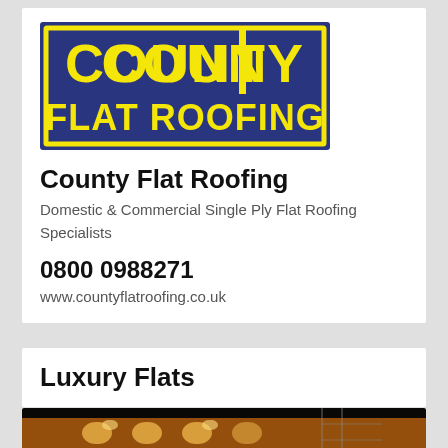[Figure (logo): County Flat Roofing logo: dark navy blue rectangle with yellow bold text 'COUNTY' on top and 'FLAT ROOFING' on bottom, with yellow border outline]
County Flat Roofing
Domestic & Commercial Single Ply Flat Roofing Specialists
0800 0988271
www.countyflatroofing.co.uk
Luxury Flats
[Figure (photo): Nighttime exterior photo of a grand building with arched windows, illuminated with warm orange/yellow lighting]